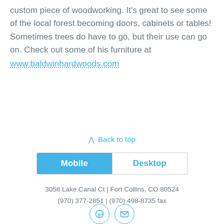custom piece of woodworking. It's great to see some of the local forest becoming doors, cabinets or tables! Sometimes trees do have to go, but their use can go on. Check out some of his furniture at www.baldwinhardwoods.com
⋀ Back to top
Mobile | Desktop
3058 Lake Canal Ct | Fort Collins, CO 80524
(970) 377-2851 | (970) 498-8735 fax